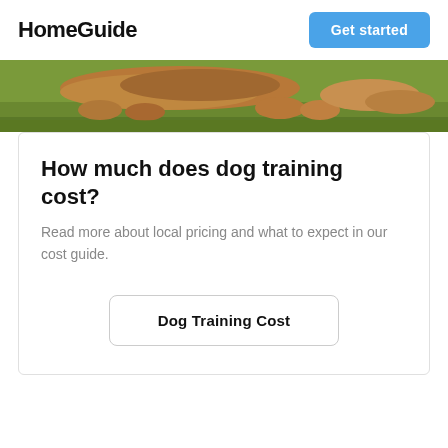HomeGuide
[Figure (photo): Close-up photo of a brown/tan dog lying on grass, showing the dog's body and paws from above at ground level.]
How much does dog training cost?
Read more about local pricing and what to expect in our cost guide.
Dog Training Cost